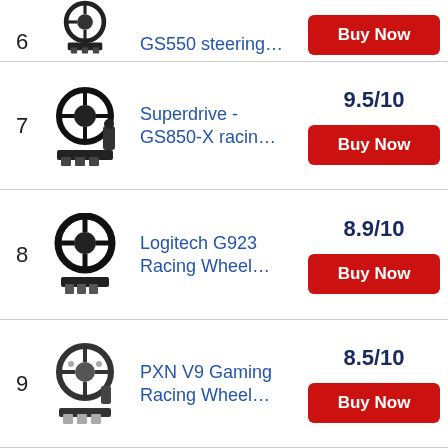6 GS550 steering... Buy Now
7 Superdrive - GS850-X racin... 9.5/10 Buy Now
8 Logitech G923 Racing Wheel... 8.9/10 Buy Now
9 PXN V9 Gaming Racing Wheel... 8.5/10 Buy Now